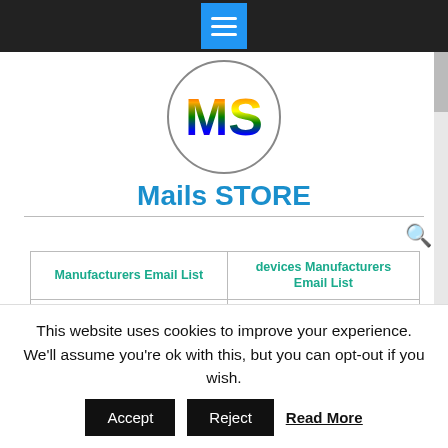Navigation bar with hamburger menu button
[Figure (logo): MS logo in a circle with rainbow-colored letters M and S]
Mails STORE
| Manufacturers Email List | devices Manufacturers Email List |
| --- | --- |
| Cardiovascular devices Manufacturers Email List | Spinal devices Manufacturers Email List |
| [partially visible] | Dental Equipment / |
This website uses cookies to improve your experience. We'll assume you're ok with this, but you can opt-out if you wish.
Accept   Reject   Read More